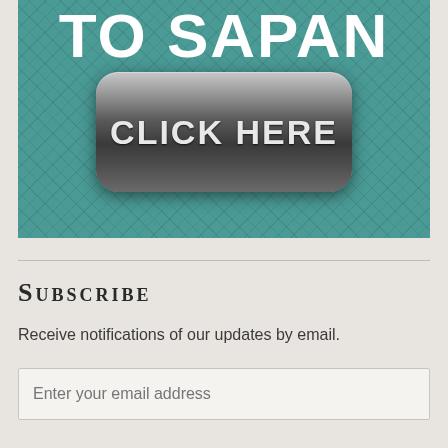[Figure (other): Teal/green patterned banner with diamond cross-hatch texture showing partial text 'TO SAPAN' at the top and a large dark rounded button with 'CLICK HERE' text in the center]
Subscribe
Receive notifications of our updates by email.
Enter your email address